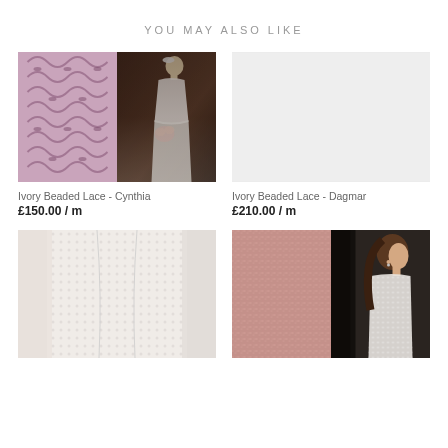YOU MAY ALSO LIKE
[Figure (photo): Product image for Ivory Beaded Lace - Cynthia: split image showing pink/mauve patterned fabric swatch on left and bride in white lace dress on right]
Ivory Beaded Lace - Cynthia
£150.00 / m
[Figure (photo): Product image for Ivory Beaded Lace - Dagmar: light grey/white placeholder image]
Ivory Beaded Lace - Dagmar
£210.00 / m
[Figure (photo): Product image showing white textured beaded dress fabric close-up]
[Figure (photo): Product image showing pink/rose glitter fabric swatch on left and woman in white beaded top in profile on right]